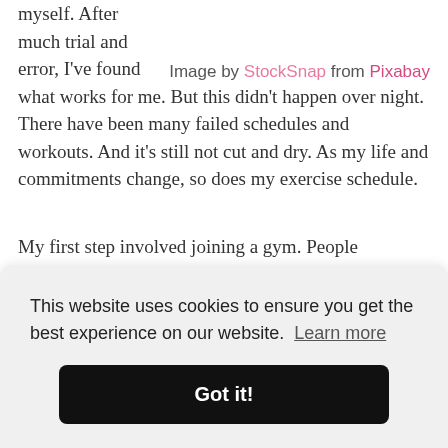myself. After much trial and error, I've found what works for me. But this didn't happen over night. There have been many failed schedules and workouts. And it's still not cut and dry. As my life and commitments change, so does my exercise schedule.
Image by StockSnap from Pixabay
My first step involved joining a gym. People recommend the gym as an obvious first step. But
This website uses cookies to ensure you get the best experience on our website. Learn more
Got it!